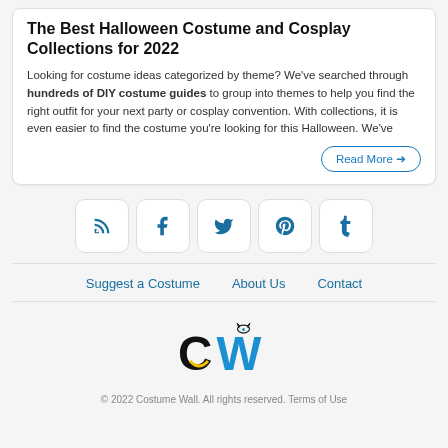The Best Halloween Costume and Cosplay Collections for 2022
Looking for costume ideas categorized by theme? We've searched through hundreds of DIY costume guides to group into themes to help you find the right outfit for your next party or cosplay convention. With collections, it is even easier to find the costume you're looking for this Halloween. We've
Read More →
[Figure (other): Row of 5 social media icon buttons: RSS feed, Facebook, Twitter, Pinterest, Tumblr]
Suggest a Costume   About Us   Contact
[Figure (logo): CW logo — stylized letters C and W in black and blue with a small face icon above the W]
© 2022 Costume Wall. All rights reserved. Terms of Use